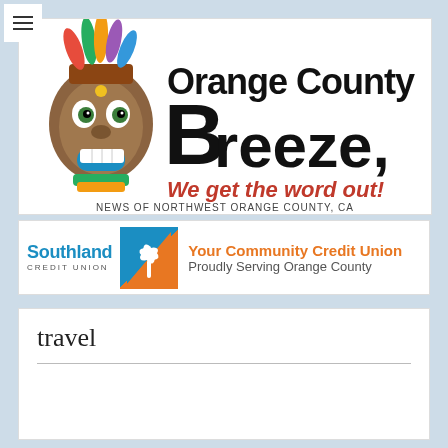[Figure (logo): Orange County Breeze newspaper logo with tiki mascot, stylized 'Orange County Breeze' text in black handwritten font, red italic tagline 'We get the word out!', and subtitle 'NEWS OF NORTHWEST ORANGE COUNTY, CA']
[Figure (logo): Southland Credit Union advertisement banner: logo with blue 'Southland' text, 'CREDIT UNION' in small caps, palm tree icon in blue/orange square, and orange bold text 'Your Community Credit Union' with gray text 'Proudly Serving Orange County']
travel